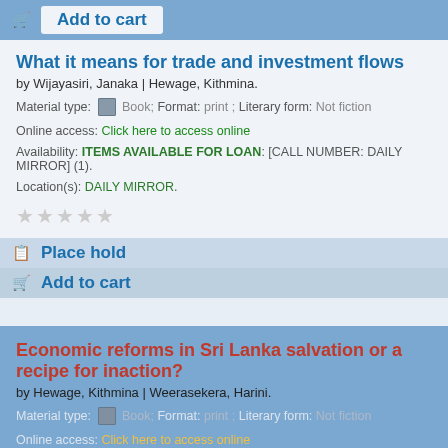Add to cart
What it means for trade and investment flows
by Wijayasiri, Janaka | Hewage, Kithmina.
Material type: Book; Format: print ; Literary form: Not fiction
Online access: Click here to access online
Availability: ITEMS AVAILABLE FOR LOAN: [CALL NUMBER: DAILY MIRROR] (1).
Location(s): DAILY MIRROR.
Place hold
Add to cart
Economic reforms in Sri Lanka salvation or a recipe for inaction?
by Hewage, Kithmina | Weerasekera, Harini.
Material type: Book; Format: print ; Literary form: Not fiction
Online access: Click here to access online